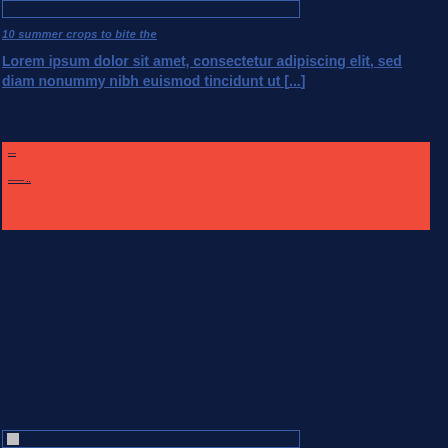[Figure (other): Empty bordered box at top of page]
10 summer crops to bite the
Lorem ipsum dolor sit amet, consectetur adipiscing elit, sed diam nonummy nibh euismod tincidunt ut [...]
[Figure (other): Red/coral colored banner box with two small underlined links]
[Figure (other): Empty bordered box at bottom of page with small image placeholder]